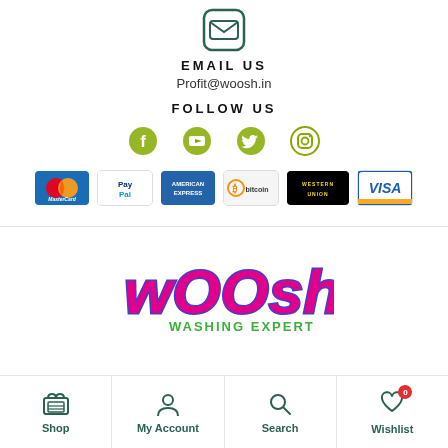[Figure (illustration): Email icon (envelope in rounded square outline)]
EMAIL US
Profit@woosh.in
FOLLOW US
[Figure (illustration): Social media icons: Facebook, YouTube, Twitter, Instagram in olive/green color]
[Figure (illustration): Payment method logos: MasterCard, PayPal, American Express, Obitcoin, Western Union, Visa]
[Figure (logo): Woosh Washing Expert logo with colorful text]
[Figure (illustration): Bottom navigation bar with Shop, My Account, Search, Wishlist icons]